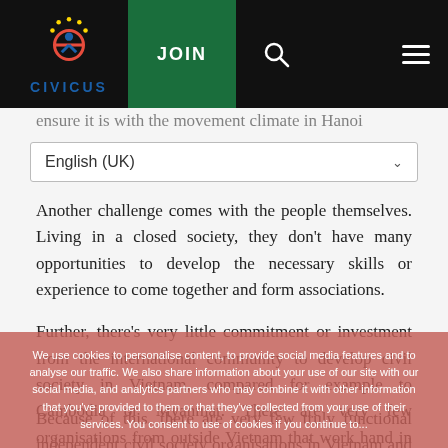CIVICUS | JOIN | [search] | [menu]
English (UK)
Another challenge comes with the people themselves. Living in a closed society, they don't have many opportunities to develop the necessary skills or experience to come together and form associations.
Further, there's very little commitment or investment from the international community to develop civil society in Vietnam, compared for example to Cambodia or Myanmar. There are very few organisations from outside Vietnam that work hand in hand with groups in Vietnam to help them develop capacity to implement programmes.
Because of this, there are very few truly functional independent civil society organisations in Vietnam and the number of these has decreased over the last five years
We use cookies to personalise content, to provide social media features and to analyse our traffic. We also share information about your use of our site with our social media, and analytics partners who may combine it with other information that you've provided to them or that they've collected from your use of their services. You consent to use of cookies if you continue to...